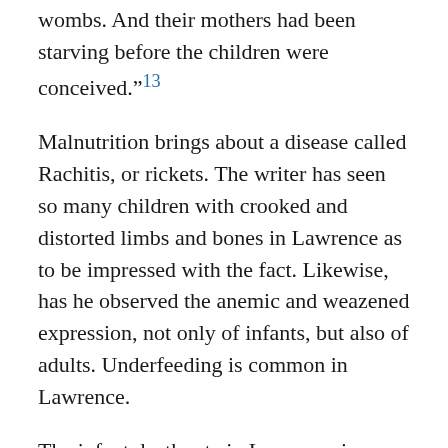wombs. And their mothers had been starving before the children were conceived."13
Malnutrition brings about a disease called Rachitis, or rickets. The writer has seen so many children with crooked and distorted limbs and bones in Lawrence as to be impressed with the fact. Likewise, has he observed the anemic and weazened expression, not only of infants, but also of adults. Underfeeding is common in Lawrence.
The infant death rate in Lawrence is very high. For every 1,000 births there are 172 deaths under one year of age. This is greater than 28 other cities with which Lawrence has been compared. The same is practically true of Lawrence's general death rate, which is 17.7 per 1,000 population, a rate which surpasses that of 26